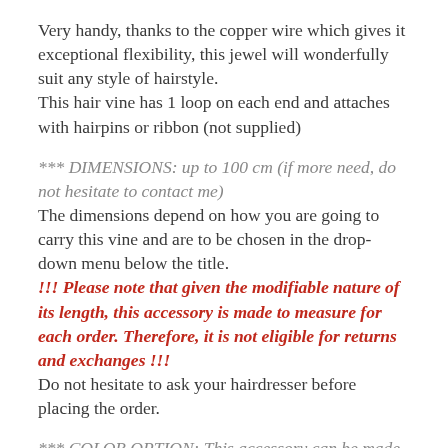Very handy, thanks to the copper wire which gives it exceptional flexibility, this jewel will wonderfully suit any style of hairstyle.
This hair vine has 1 loop on each end and attaches with hairpins or ribbon (not supplied)
*** DIMENSIONS: up to 100 cm (if more need, do not hesitate to contact me)
The dimensions depend on how you are going to carry this vine and are to be chosen in the drop-down menu below the title.
!!! Please note that given the modifiable nature of its length, this accessory is made to measure for each order. Therefore, it is not eligible for returns and exchanges !!!
Do not hesitate to ask your hairdresser before placing the order.
*** COLOR OPTION: This accessory can be made in silver,